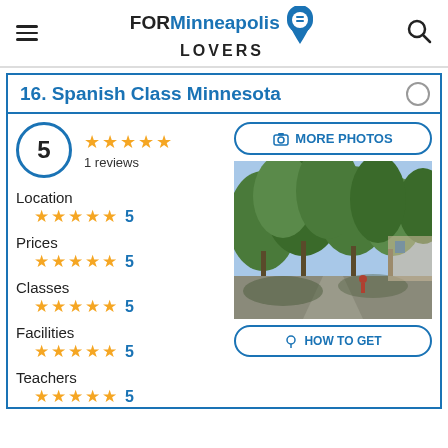FOR Minneapolis LOVERS
16. Spanish Class Minnesota
5 — 1 reviews
Location ★★★★★ 5
Prices ★★★★★ 5
Classes ★★★★★ 5
Facilities ★★★★★ 5
Teachers ★★★★★ 5
[Figure (photo): Outdoor photo showing trees and driveway area, appears to be a residential or school location.]